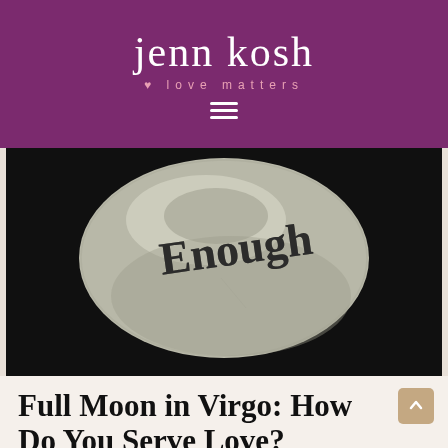jenn kosh • love matters
[Figure (photo): A smooth gray stone with the word 'Enough' written in black cursive script, set against a dark background.]
Full Moon in Virgo: How Do You Serve Love?